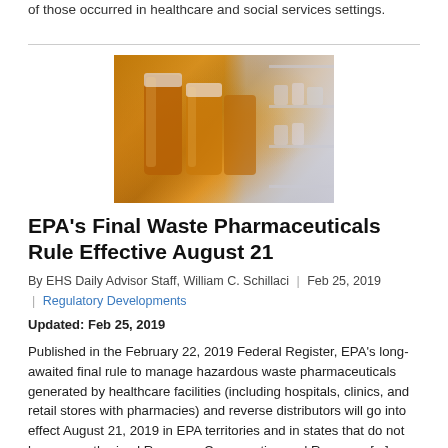of those occurred in healthcare and social services settings.
[Figure (photo): Close-up photograph of amber/orange pharmaceutical pill bottles in a pharmacy setting, with shelves of medication visible in the background.]
EPA's Final Waste Pharmaceuticals Rule Effective August 21
By EHS Daily Advisor Staff, William C. Schillaci | Feb 25, 2019 | Regulatory Developments
Updated: Feb 25, 2019
Published in the February 22, 2019 Federal Register, EPA's long-awaited final rule to manage hazardous waste pharmaceuticals generated by healthcare facilities (including hospitals, clinics, and retail stores with pharmacies) and reverse distributors will go into effect August 21, 2019 in EPA territories and in states that do not have an authorized Resource Conservation and Recovery [...]